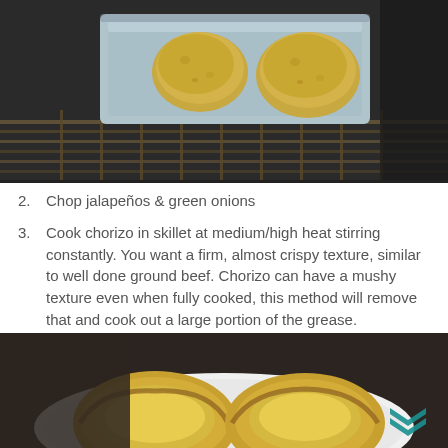[Figure (photo): Two potatoes in a light blue baking pan sitting on an oven rack inside an oven]
2. Chop jalapeños & green onions
3. Cook chorizo in skillet at medium/high heat stirring constantly. You want a firm, almost crispy texture, similar to well done ground beef. Chorizo can have a mushy texture even when fully cooked, this method will remove that and cook out a large portion of the grease.
4. Remove potatoes and scoop out their centers, leaving a bit on the sides so they maintain their shape like cups
[Figure (photo): Two halved baked potatoes scooped out, sitting on a white plate on a dark countertop, with a teal chevron logo watermark in the bottom right]